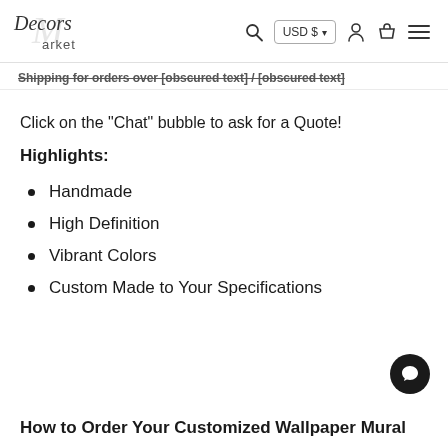Decors Market — USD $ — search, account, cart, menu
Shipping for orders over [crossed out text]
Click on the "Chat" bubble to ask for a Quote!
Highlights:
Handmade
High Definition
Vibrant Colors
Custom Made to Your Specifications
How to Order Your Customized Wallpaper Mural